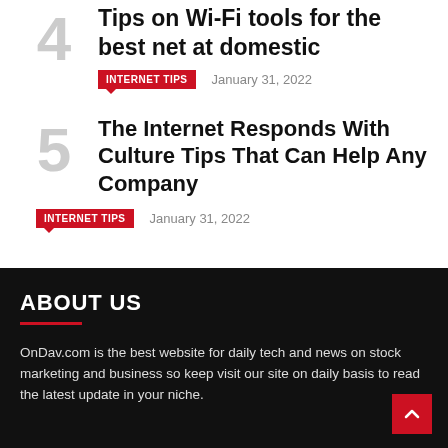Tips on Wi-Fi tools for the best net at domestic
INTERNET TIPS   January 31, 2022
The Internet Responds With Culture Tips That Can Help Any Company
INTERNET TIPS   January 31, 2022
ABOUT US
OnDav.com is the best website for daily tech and news on stock marketing and business so keep visit our site on daily basis to read the latest update in your niche.